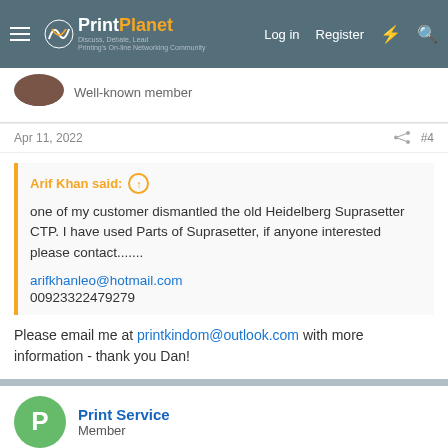PrintPlanet - Discuss, Debate, Lead - Printing's On-line Networking Community | Log in | Register
Well-known member
Apr 11, 2022   #4
Arif Khan said:
one of my customer dismantled the old Heidelberg Suprasetter CTP. I have used Parts of Suprasetter, if anyone interested please contact.......
arifkhanleo@hotmail.com
00923322479279
Please email me at printkindom@outlook.com with more information - thank you Dan!
Print Service
Member
Apr 11, 2022   #5